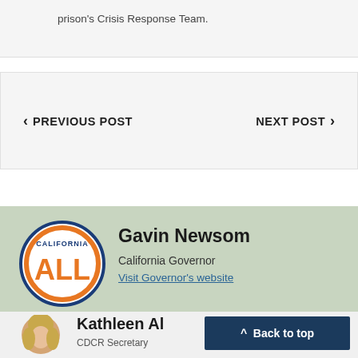prison's Crisis Response Team.
< PREVIOUS POST    NEXT POST >
[Figure (logo): California ALL circular logo with orange text and blue border]
Gavin Newsom
California Governor
Visit Governor's website
[Figure (photo): Circular photo of Kathleen, a blonde woman]
Kathleen Al
CDCR Secretary